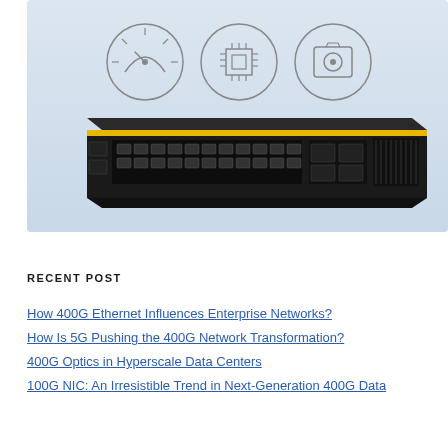[Figure (photo): Network switch product photo on a light gray-blue background with three circular icons above (speedometer, microchip, power/lightning bolt). The switch is a 1U rack-mount unit, black chassis with yellow accent stripe, multiple RJ45 ports, SFP ports, and a ventilation grill on the right.]
RECENT POST
How 400G Ethernet Influences Enterprise Networks?
How Is 5G Pushing the 400G Network Transformation?
400G Optics in Hyperscale Data Centers
100G NIC: An Irresistible Trend in Next-Generation 400G Data